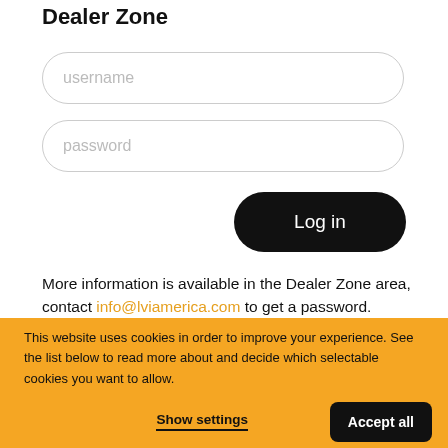Dealer Zone
[Figure (screenshot): Username input field with rounded border and placeholder text 'username']
[Figure (screenshot): Password input field with rounded border and placeholder text 'password']
[Figure (screenshot): Black rounded 'Log in' button]
More information is available in the Dealer Zone area, contact info@lviamerica.com to get a password.
This website uses cookies in order to improve your experience. See the list below to read more about and decide which selectable cookies you want to allow.
Show settings
Accept all